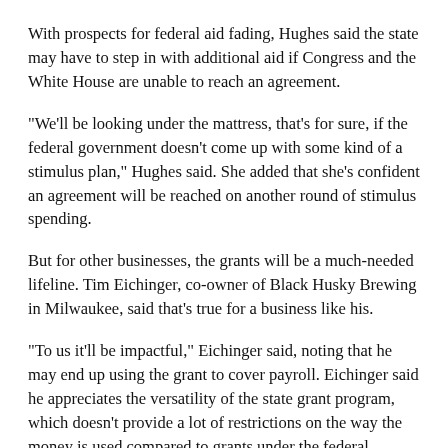With prospects for federal aid fading, Hughes said the state may have to step in with additional aid if Congress and the White House are unable to reach an agreement.
"We'll be looking under the mattress, that's for sure, if the federal government doesn't come up with some kind of a stimulus plan," Hughes said. She added that she's confident an agreement will be reached on another round of stimulus spending.
But for other businesses, the grants will be a much-needed lifeline. Tim Eichinger, co-owner of Black Husky Brewing in Milwaukee, said that's true for a business like his.
"To us it'll be impactful," Eichinger said, noting that he may end up using the grant to cover payroll. Eichinger said he appreciates the versatility of the state grant program, which doesn't provide a lot of restrictions on the way the money is used compared to grants under the federal Paycheck Protection Program...